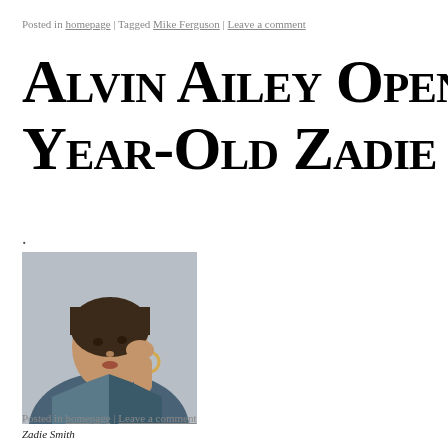Posted in homepage | Tagged Mike Ferguson | Leave a comment
Alvin Ailey Opened Year-Old Zadie Sm
.
[Figure (photo): Portrait photo of Zadie Smith, a woman wearing a dark head wrap and large hoop earrings, dressed in a denim jacket, with her hand raised near her head, against a grey background.]
Zadie Smith
Posted in homepage | Leave a comment